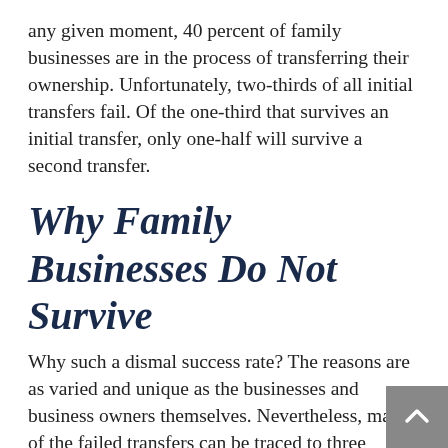any given moment, 40 percent of family businesses are in the process of transferring their ownership. Unfortunately, two-thirds of all initial transfers fail. Of the one-third that survives an initial transfer, only one-half will survive a second transfer.
Why Family Businesses Do Not Survive
Why such a dismal success rate? The reasons are as varied and unique as the businesses and business owners themselves. Nevertheless, many of the failed transfers can be traced to three causes: people, taxes and cash.
Family Business Owners and Estate Planning for the Family